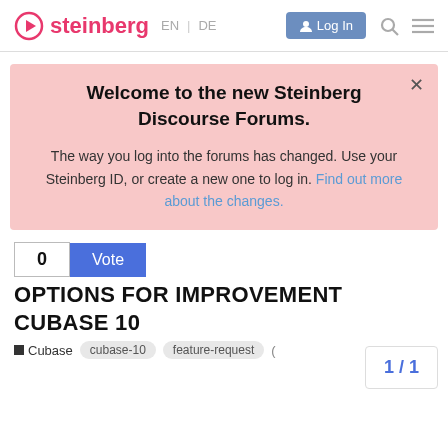steinberg EN | DE  Log In
Welcome to the new Steinberg Discourse Forums.
The way you log into the forums has changed. Use your Steinberg ID, or create a new one to log in. Find out more about the changes.
0  Vote
OPTIONS FOR IMPROVEMENT CUBASE 10
Cubase  cubase-10  feature-request  (  1/1